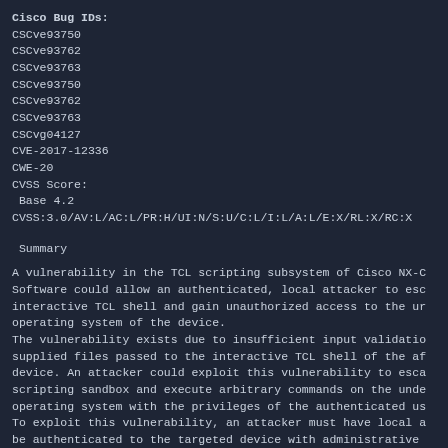Cisco Bug IDs:
CSCve93750
CSCve93762
CSCve93763
CSCve93750
CSCve93762
CSCve93763
CSCvg04127
CVE-2017-12336
CWE-20
CVSS Score:
 Base 4.2
CVSS:3.0/AV:L/AC:L/PR:H/UI:N/S:U/C:L/I:L/A:L/E:X/RL:X/RC:X
Summary
A vulnerability in the TCL scripting subsystem of Cisco NX-C Software could allow an authenticated, local attacker to esc interactive TCL shell and gain unauthorized access to the ur operating system of the device.
The vulnerability exists due to insufficient input validatio supplied files passed to the interactive TCL shell of the af device. An attacker could exploit this vulnerability to esca scripting sandbox and execute arbitrary commands on the unde operating system with the privileges of the authenticated us To exploit this vulnerability, an attacker must have local a be authenticated to the targeted device with administrative execution privileges.
There are no workarounds that address this vulnerability.
This advisory is available at the following link:
https://tools.cisco.com/security/center/content/CiscoSecuri